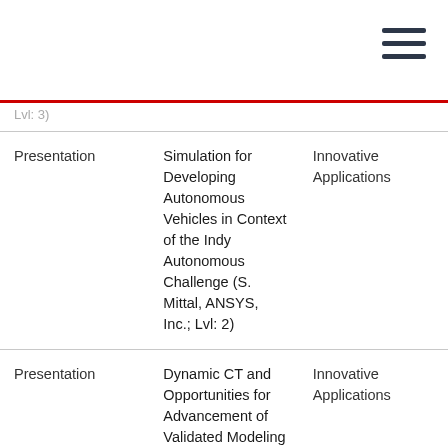| Type | Title | Track |
| --- | --- | --- |
| Presentation | Simulation for Developing Autonomous Vehicles in Context of the Indy Autonomous Challenge (S. Mittal, ANSYS, Inc.; Lvl: 2) | Innovative Applications |
| Presentation | Dynamic CT and Opportunities for Advancement of Validated Modeling & Simulation (J. Topich, Kinetic Vision; Lvl: 3) | Innovative Applications |
| Presentation | An Effective Approach for Elimination of Scrap Accumulation in Mass Stamping Production of Sheet Metal (A… | Manufacturing Process Simulation |